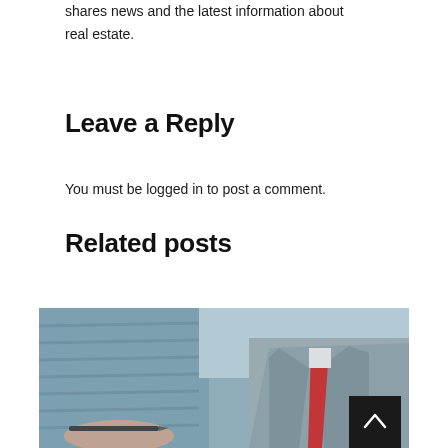shares news and the latest information about real estate.
Leave a Reply
You must be logged in to post a comment.
Related posts
[Figure (photo): Photo of a businessman in a grey suit with red tie, with a hand holding a pen in the foreground, blurred background suggesting an office setting. A dark scroll-to-top button with a chevron/caret icon is visible in the bottom right corner.]